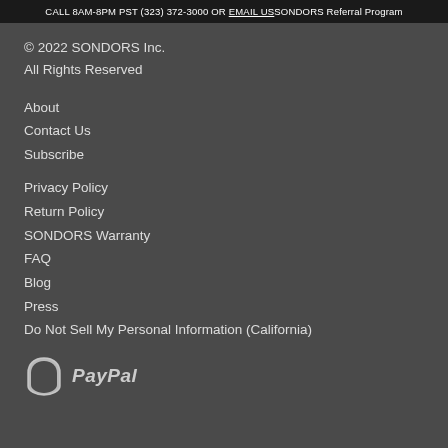CALL 8AM-8PM PST (323) 372-3000 OR EMAIL USSONDORS Referral Program
© 2022 SONDORS Inc.
All Rights Reserved
About
Contact Us
Subscribe
Privacy Policy
Return Policy
SONDORS Warranty
FAQ
Blog
Press
Do Not Sell My Personal Information (California)
[Figure (logo): PayPal logo with shield icon and italic PayPal text in light gray]